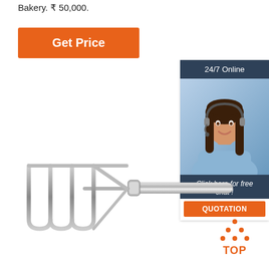Bakery. ₹ 50,000.
Get Price
[Figure (infographic): Customer service widget showing '24/7 Online' banner at top in dark blue, a smiling female customer service agent photo in middle, 'Click here for free chat!' text in dark blue, and an orange 'QUOTATION' button at bottom.]
[Figure (photo): A stainless steel hand-held bread/dough masher with a zigzag wire loop head and silver cylindrical handle, photographed on white background.]
[Figure (infographic): Orange 'TOP' button with orange dot arrow icon pointing up, used as a scroll-to-top navigation element.]